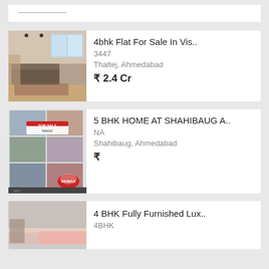[Figure (screenshot): Top partial card with a horizontal line visible at the top of the page]
4bhk Flat For Sale In Vis..
3447
Thaltej, Ahmedabad
₹ 2.4 Cr
[Figure (photo): Interior photo of a furnished living room with large windows]
5 BHK HOME AT SHAHIBAUG A..
NA
Shahibaug, Ahmedabad
₹
[Figure (photo): RE/MAX For Sale collage image with multiple room photos]
4 BHK Fully Furnished Lux..
4BHK
[Figure (photo): Partial photo of a furnished bedroom with pink accents]